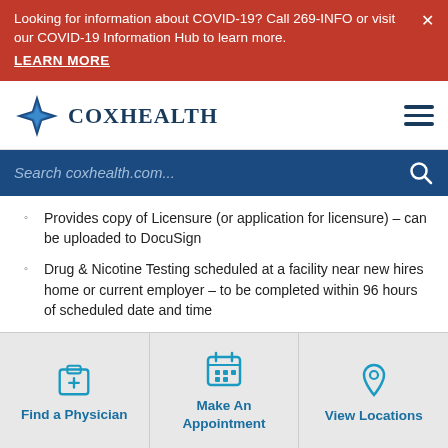Looking for information about COVID-19? Call 269-INFO or visit our COVID-19 Information Hub to learn more. LEARN MORE
[Figure (logo): CoxHealth logo with four-pointed star/diamond shape and text 'CoxHealth']
Search coxhealth.com...
Provides copy of Licensure (or application for licensure) – can be uploaded to DocuSign
Drug & Nicotine Testing scheduled at a facility near new hires home or current employer – to be completed within 96 hours of scheduled date and time
Blood draw done by Employee Health at Orientation
Find a Physician
Make An Appointment
View Locations